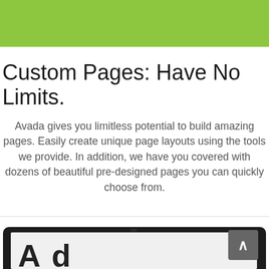[Figure (other): Green header bar at top of page]
Custom Pages: Have No Limits.
Avada gives you limitless potential to build amazing pages. Easily create unique page layouts using the tools we provide. In addition, we have you covered with dozens of beautiful pre-designed pages you can quickly choose from.
[Figure (screenshot): Tablet/laptop device frame showing a partial screenshot with large bold text and a scroll-to-top button]